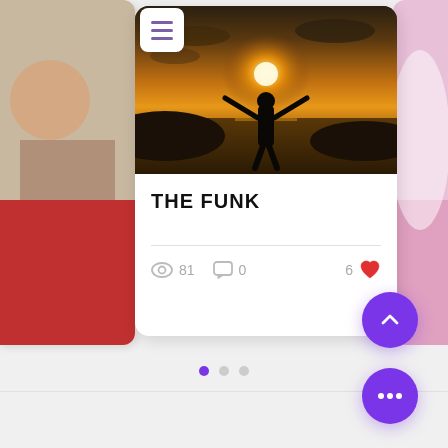[Figure (screenshot): Mobile app UI screenshot showing a blog/post card with a silhouette photo titled 'THE FUNK', with view count 81, comment count 0, and 6 likes. Navigation dots and action buttons visible.]
THE FUNK
81  0  6